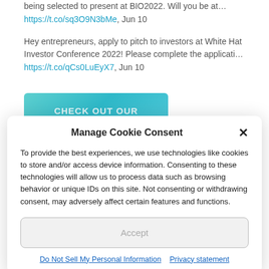being selected to present at BIO2022. Will you be at…
https://t.co/sq3O9N3bMe, Jun 10
Hey entrepreneurs, apply to pitch to investors at White Hat Investor Conference 2022! Please complete the applicati…
https://t.co/qCs0LuEyX7, Jun 10
[Figure (other): Teal/turquoise button banner with text CHECK OUT OUR]
Manage Cookie Consent
To provide the best experiences, we use technologies like cookies to store and/or access device information. Consenting to these technologies will allow us to process data such as browsing behavior or unique IDs on this site. Not consenting or withdrawing consent, may adversely affect certain features and functions.
Accept
Do Not Sell My Personal Information   Privacy statement